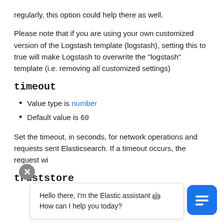regularly, this option could help there as well.
Please note that if you are using your own customized version of the Logstash template (logstash), setting this to true will make Logstash to overwrite the "logstash" template (i.e. removing all customized settings)
timeout
Value type is number
Default value is 60
Set the timeout, in seconds, for network operations and requests sent Elasticsearch. If a timeout occurs, the request wi...
truststore